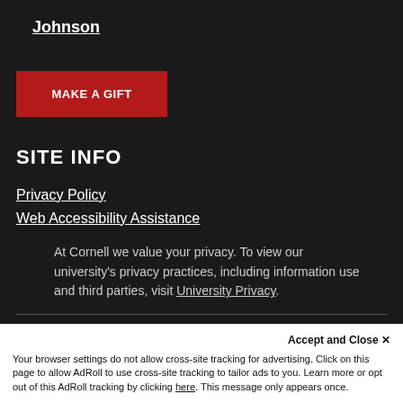Johnson
MAKE A GIFT
SITE INFO
Privacy Policy
Web Accessibility Assistance
At Cornell we value your privacy. To view our university's privacy practices, including information use and third parties, visit University Privacy.
© 2022 All Rights Reserved. Cornell Nolan
Thanks for letting me know
Accept and Close ✕
Your browser settings do not allow cross-site tracking for advertising. Click on this page to allow AdRoll to use cross-site tracking to tailor ads to you. Learn more or opt out of this AdRoll tracking by clicking here. This message only appears once.